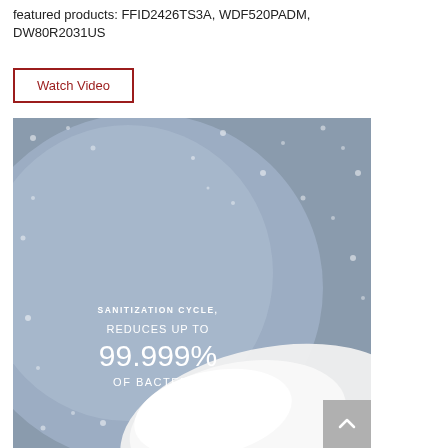featured products: FFID2426TS3A, WDF520PADM, DW80R2031US
Watch Video
[Figure (photo): Close-up photo of dishes/plates with water droplets on a blue-grey background. Overlaid white text reads: SANITIZATION CYCLE, REDUCES UP TO 99.999% OF BACTERIA]